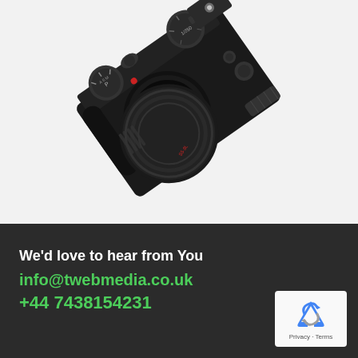[Figure (photo): Overhead view of a black mirrorless camera with a large lens, photographed diagonally on a white background]
We'd love to hear from You
info@twebmedia.co.uk
+44 7438154231
[Figure (logo): Google reCAPTCHA widget showing blue and grey arrow logo with Privacy · Terms text]